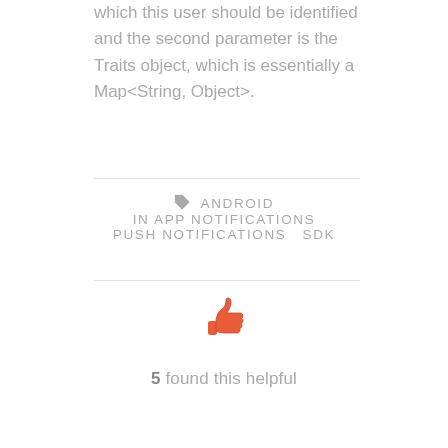which this user should be identified and the second parameter is the Traits object, which is essentially a Map<String, Object>.
ANDROID  IN APP NOTIFICATIONS  PUSH NOTIFICATIONS  SDK
[Figure (illustration): Thumbs up icon in orange/red color]
5 found this helpful